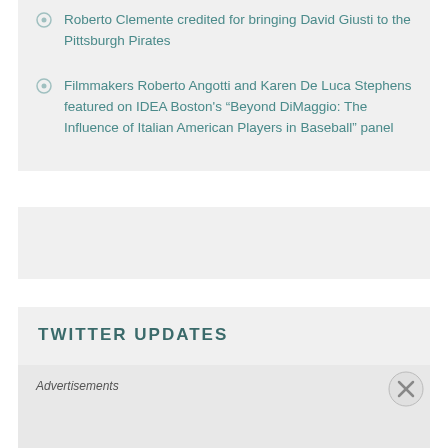Roberto Clemente credited for bringing David Giusti to the Pittsburgh Pirates
Filmmakers Roberto Angotti and Karen De Luca Stephens featured on IDEA Boston's “Beyond DiMaggio: The Influence of Italian American Players in Baseball” panel
TWITTER UPDATES
Advertisements
REPORT THIS AD